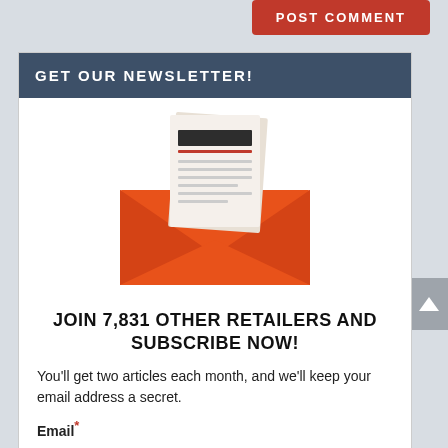POST COMMENT
GET OUR NEWSLETTER!
[Figure (illustration): Newsletter subscription icon: an open orange envelope with a document/letter sticking out from the top. The letter has a dark header bar and horizontal lines representing text.]
JOIN 7,831 OTHER RETAILERS AND SUBSCRIBE NOW!
You'll get two articles each month, and we'll keep your email address a secret.
Email*